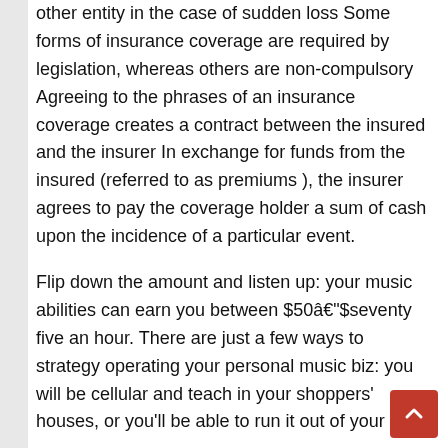other entity in the case of sudden loss Some forms of insurance coverage are required by legislation, whereas others are non-compulsory Agreeing to the phrases of an insurance coverage creates a contract between the insured and the insurer In exchange for funds from the insured (referred to as premiums ), the insurer agrees to pay the coverage holder a sum of cash upon the incidence of a particular event.
Flip down the amount and listen up: your music abilities can earn you between $50â€”$seventy five an hour. There are just a few ways to strategy operating your personal music biz: you will be cellular and teach in your shoppers' houses, or you'll be able to run it out of your